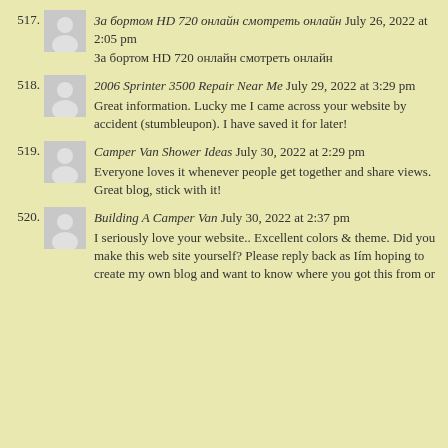517. За бортом HD 720 онлайн смотреть онлайн July 26, 2022 at 2:05 pm
За бортом HD 720 онлайн смотреть онлайн
518. 2006 Sprinter 3500 Repair Near Me July 29, 2022 at 3:29 pm
Great information. Lucky me I came across your website by accident (stumbleupon). I have saved it for later!
519. Camper Van Shower Ideas July 30, 2022 at 2:29 pm
Everyone loves it whenever people get together and share views. Great blog, stick with it!
520. Building A Camper Van July 30, 2022 at 2:37 pm
I seriously love your website.. Excellent colors & theme. Did you make this web site yourself? Please reply back as Iím hoping to create my own blog and want to know where you got this from or